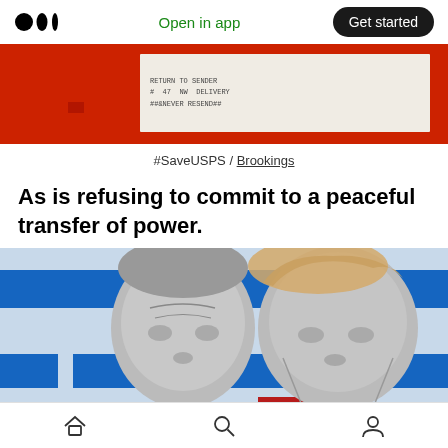Medium logo | Open in app | Get started
[Figure (photo): Top strip showing red background with white envelope/mail piece on right side]
#SaveUSPS / Brookings
As is refusing to commit to a peaceful transfer of power.
[Figure (photo): Two men facing each other in profile: Biden on left and Trump on right, with blue and red graphic bars behind them]
Home | Search | Profile navigation icons